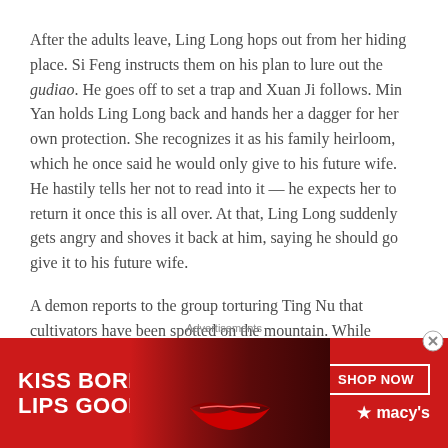After the adults leave, Ling Long hops out from her hiding place. Si Feng instructs them on his plan to lure out the gudiao. He goes off to set a trap and Xuan Ji follows. Min Yan holds Ling Long back and hands her a dagger for her own protection. She recognizes it as his family heirloom, which he once said he would only give to his future wife. He hastily tells her not to read into it — he expects her to return it once this is all over. At that, Ling Long suddenly gets angry and shoves it back at him, saying he should go give it to his future wife.
A demon reports to the group torturing Ting Nu that cultivators have been spotted on the mountain. While everyone rushes to move the prisoners and erase all their
Advertisements
[Figure (illustration): Advertisement banner for Macy's lipstick product. Red background with woman's face and lips visible. Text reads 'KISS BORING LIPS GOODBYE' on the left and 'SHOP NOW' button with Macy's star logo on the right.]